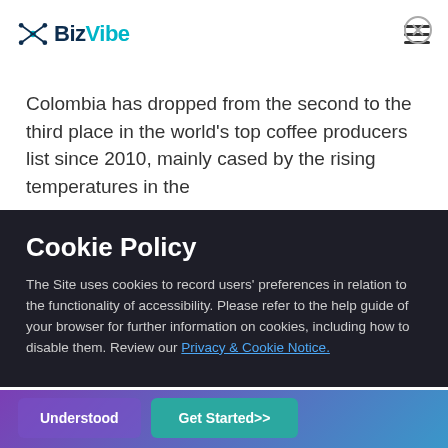BizVibe
Colombia has dropped from the second to the third place in the world's top coffee producers list since 2010, mainly cased by the rising temperatures in the
Cookie Policy
The Site uses cookies to record users' preferences in relation to the functionality of accessibility. Please refer to the help guide of your browser for further information on cookies, including how to disable them. Review our Privacy & Cookie Notice.
Want exclusive insights for 30M+ Companies? Target the right companies with BizVibe's supplier and sales intelligence tools!
Understood
Get Started>>